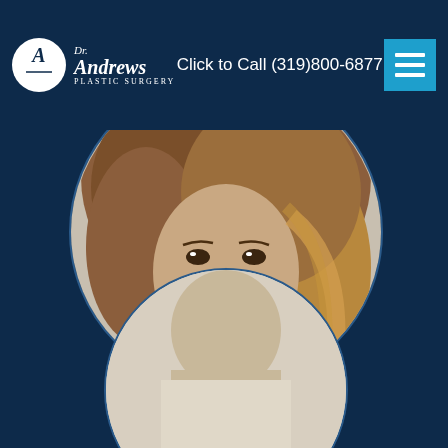Dr. Andrews Plastic Surgery — Click to Call (319)800-6877
[Figure (photo): Circular portrait photo of an attractive young woman with wavy auburn/blonde hair, serving as the 'Face' category image for Dr. Andrews Plastic Surgery website]
FACE
[Figure (photo): Partial circular image at the bottom of the page showing another category photo (partially visible)]